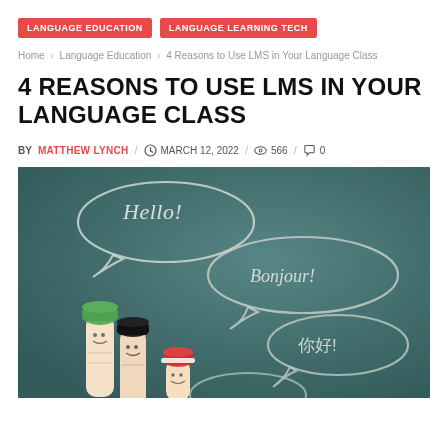LANGUAGE EDUCATION | LANGUAGE LEARNING TECH
Home › Language Education › 4 Reasons to Use LMS in Your Language Class
4 REASONS TO USE LMS IN YOUR LANGUAGE CLASS
BY MATTHEW LYNCH / MARCH 12, 2022 / 566 / 0
[Figure (photo): Three finger puppets with cartoon faces (green, black, and orange/red hats) against a teal chalkboard background with speech bubbles drawn in chalk reading 'Hello!', 'Bonjour!', '你好!', and a partially visible fourth bubble.]